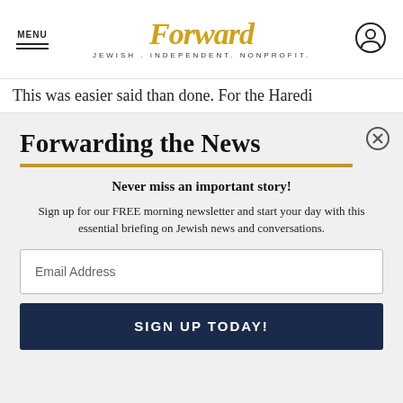MENU | Forward JEWISH. INDEPENDENT. NONPROFIT.
This was easier said than done. For the Haredi
Forwarding the News
Never miss an important story!
Sign up for our FREE morning newsletter and start your day with this essential briefing on Jewish news and conversations.
Email Address
SIGN UP TODAY!